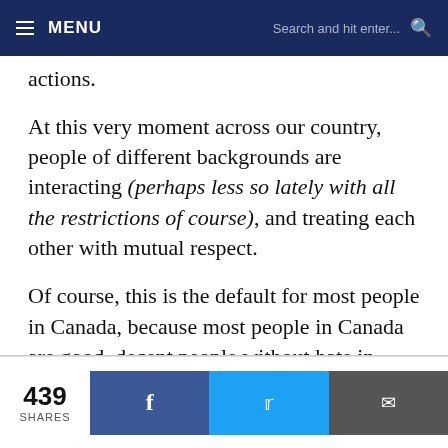≡ MENU   Search and hit enter...  🔍
actions.
At this very moment across our country, people of different backgrounds are interacting (perhaps less so lately with all the restrictions of course), and treating each other with mutual respect.
Of course, this is the default for most people in Canada, because most people in Canada are good, decent people without hate in their hearts.
The number of actual extremists or racists in Canada
439 SHARES  [Facebook share] [Twitter share] [Email share]